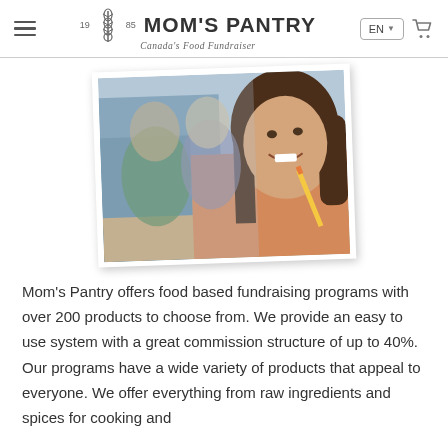MOM'S PANTRY — Canada's Food Fundraiser
[Figure (photo): A smiling girl with long brown hair writing with a pencil in a classroom setting, with other students blurred in the background. Photo presented in a polaroid-style frame tilted slightly.]
Mom's Pantry offers food based fundraising programs with over 200 products to choose from. We provide an easy to use system with a great commission structure of up to 40%. Our programs have a wide variety of products that appeal to everyone. We offer everything from raw ingredients and spices for cooking and